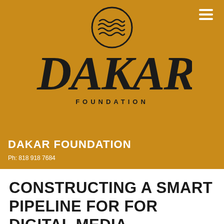[Figure (logo): Dakar Foundation logo: circular emblem with wave lines on top, large stylized 'DAKAR' script text below, and 'FOUNDATION' in spaced capitals underneath, all on a golden/amber background]
DAKAR FOUNDATION
Ph: 818 918 7684
CONSTRUCTING A SMART PIPELINE FOR FOR DIGITAL MEDIA CLASSROOMS IN THE CREATIVE-TECH ECONOMY